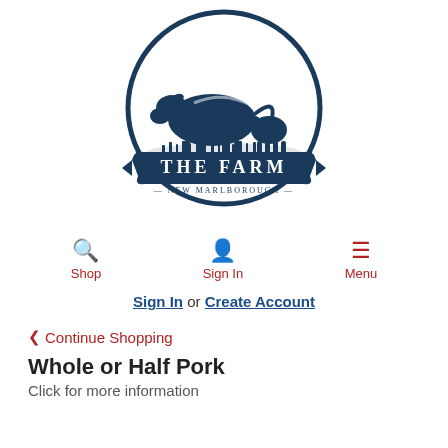[Figure (logo): The Farm New Marlborough logo — circular emblem with silhouette of cow and calf in dark navy blue, banner reading 'THE FARM' and '— NEW MARLBOROUGH —']
Shop   Sign In   Menu
Sign In or Create Account
< Continue Shopping
Whole or Half Pork
Click for more information